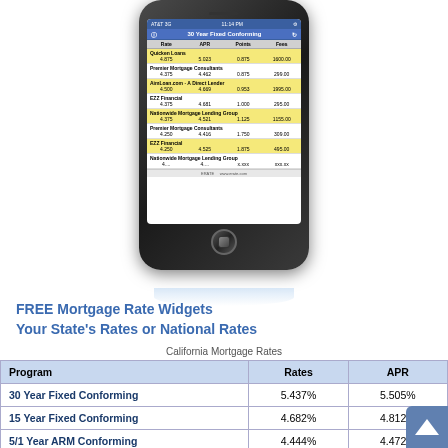[Figure (screenshot): iPhone displaying 30 Year Fixed Conforming mortgage rates app from ERATE, showing lenders including Quicken Loans, Premier Mortgage Consultants, AimLoan.com, EZZ Financial, and Nationwide Mortgage Lending Group with Rate, APR, Points, and Fees columns.]
FREE Mortgage Rate Widgets
Your State's Rates or National Rates
California Mortgage Rates
| Program | Rates | APR |
| --- | --- | --- |
| 30 Year Fixed Conforming | 5.437% | 5.505% |
| 15 Year Fixed Conforming | 4.682% | 4.812% |
| 5/1 Year ARM Conforming | 4.444% | 4.472% |